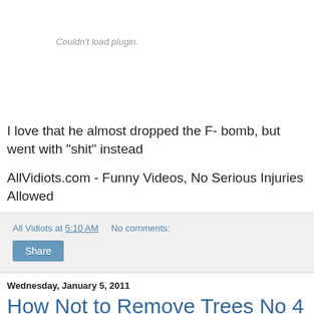[Figure (other): Couldn't load plugin. placeholder area]
I love that he almost dropped the F- bomb, but went with "shit" instead
AllVidiots.com - Funny Videos, No Serious Injuries Allowed
All Vidiots at 5:10 AM   No comments:
Share
Wednesday, January 5, 2011
How Not to Remove Trees No 4